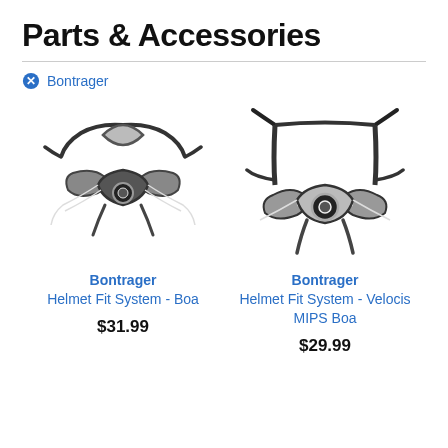Parts & Accessories
Bontrager
[Figure (photo): Bontrager Helmet Fit System - Boa, a black and gray helmet retention system viewed from below]
Bontrager
Helmet Fit System - Boa
$31.99
[Figure (photo): Bontrager Helmet Fit System - Velocis MIPS Boa, a larger black and white helmet retention system viewed from below]
Bontrager
Helmet Fit System - Velocis MIPS Boa
$29.99